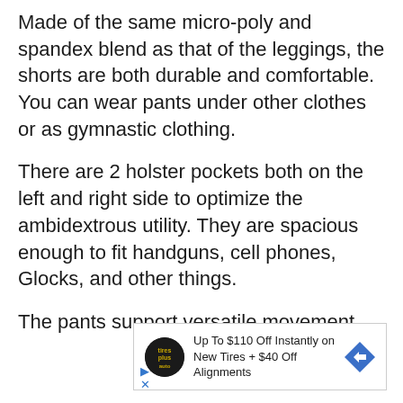Made of the same micro-poly and spandex blend as that of the leggings, the shorts are both durable and comfortable. You can wear pants under other clothes or as gymnastic clothing.
There are 2 holster pockets both on the left and right side to optimize the ambidextrous utility. They are spacious enough to fit handguns, cell phones, Glocks, and other things.
The pants support versatile movement
[Figure (other): Advertisement banner: Tires Plus Auto logo, text 'Up To $110 Off Instantly on New Tires + $40 Off Alignments', blue diamond arrow icon, with play and close controls.]